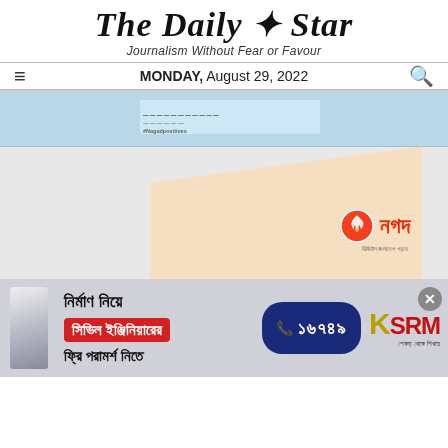The Daily Star
Journalism Without Fear or Favour
MONDAY, August 29, 2022
[Figure (screenshot): Nagad mobile financial service advertisement on The Daily Star website, showing a Nagad branded document/letter with the Nagad logo (orange flame icon with Bengali text নগদ). Below is a construction advertisement banner with Bengali text reading 'নির্মাণ নিয়ে সিভিল ইঞ্জিনিয়ারের ফ্রি পরামর্শ নিতে', phone number 16749, and KSRM brand logo with tagline.]